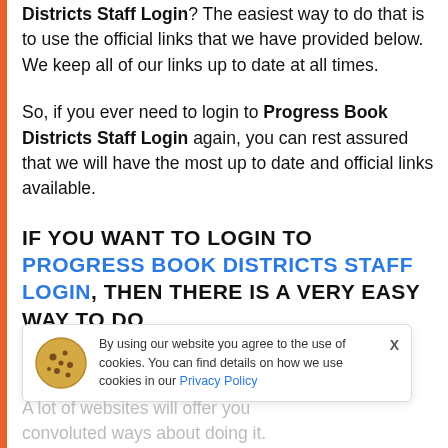Districts Staff Login? The easiest way to do that is to use the official links that we have provided below. We keep all of our links up to date at all times.
So, if you ever need to login to Progress Book Districts Staff Login again, you can rest assured that we will have the most up to date and official links available.
IF YOU WANT TO LOGIN TO PROGRESS BOOK DISTRICTS STAFF LOGIN, THEN THERE IS A VERY EASY WAY TO DO IT.
By using our website you agree to the use of cookies. You can find details on how we use cookies in our Privacy Policy
A lot of websites will offer you convoluted ways about doing it.